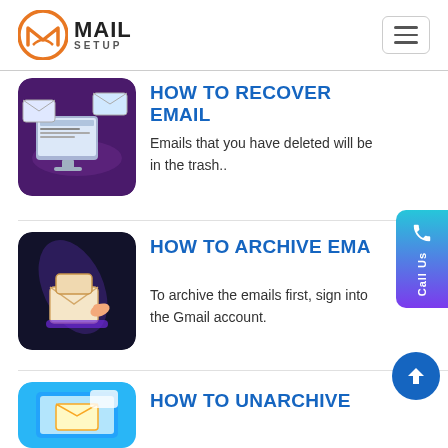MAIL SETUP
HOW TO RECOVER EMAIL
Emails that you have deleted will be in the trash..
HOW TO ARCHIVE EMAIL
To archive the emails first, sign into the Gmail account.
HOW TO UNARCHIVE